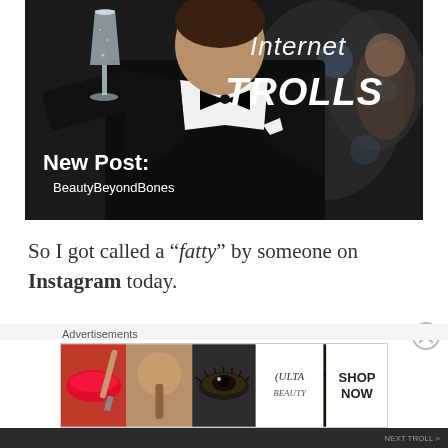[Figure (photo): A man in a black tuxedo holding up a champagne glass toward the camera, with text overlaid: 'Internet TROLLS' in white handwritten font in the upper right, and 'New Post: BeautyBeyondBones' in bold white text in the lower left.]
So I got called a “fatty” by someone on Instagram today.
[Figure (screenshot): Ulta Beauty advertisement banner showing makeup-related images: red lips with makeup brush, a glamorous eye, the Ulta Beauty logo, dramatic eye makeup, and a 'SHOP NOW' call to action on white background.]